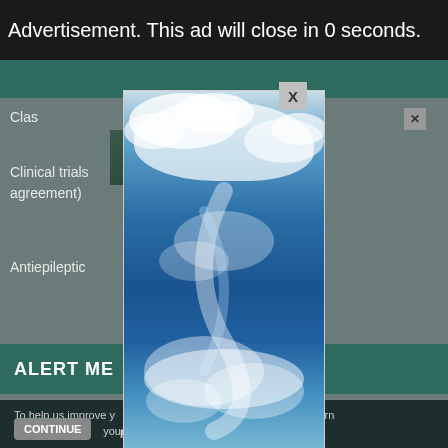Advertisement. This ad will close in 0 seconds.
Clas
Clinical trials CONSORT agreement)
Antiepileptic zures
ALERT ME
To help us improve y his website uses cookies. Learn more your settings in our Cookie Policy. You c
CONTINUE
FIN